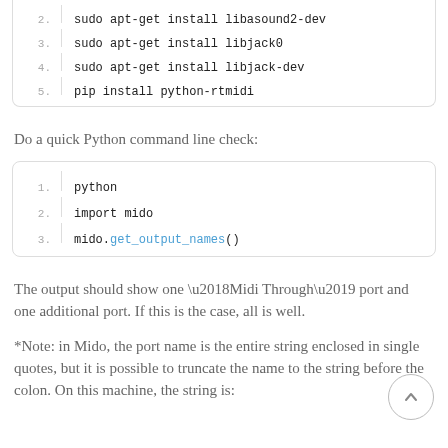[Figure (screenshot): Code block showing lines 2-5: sudo apt-get install libasound2-dev, sudo apt-get install libjack0, sudo apt-get install libjack-dev, pip install python-rtmidi]
Do a quick Python command line check:
[Figure (screenshot): Code block showing lines 1-3: python, import mido, mido.get_output_names()]
The output should show one ‘Midi Through’ port and one additional port. If this is the case, all is well.
*Note: in Mido, the port name is the entire string enclosed in single quotes, but it is possible to truncate the name to the string before the colon. On this machine, the string is: